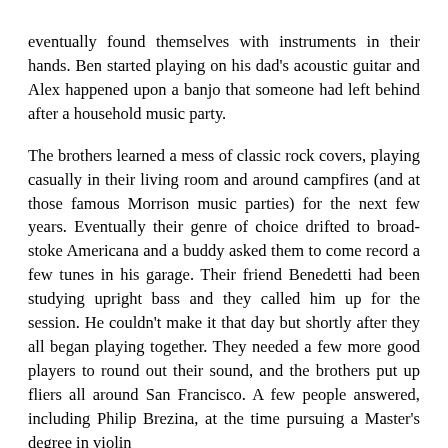eventually found themselves with instruments in their hands. Ben started playing on his dad's acoustic guitar and Alex happened upon a banjo that someone had left behind after a household music party.
The brothers learned a mess of classic rock covers, playing casually in their living room and around campfires (and at those famous Morrison music parties) for the next few years. Eventually their genre of choice drifted to broad-stoke Americana and a buddy asked them to come record a few tunes in his garage. Their friend Benedetti had been studying upright bass and they called him up for the session. He couldn't make it that day but shortly after they all began playing together. They needed a few more good players to round out their sound, and the brothers put up fliers all around San Francisco. A few people answered, including Philip Brezina, at the time pursuing a Master's degree in violin